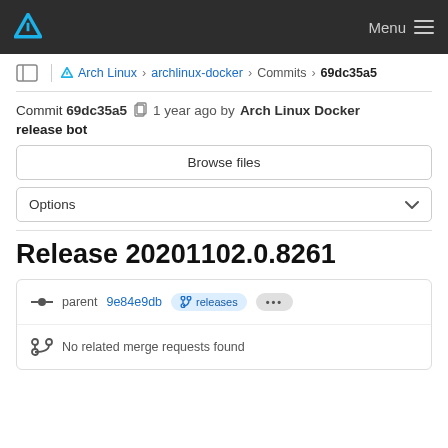Arch Linux — Menu
Arch Linux > archlinux-docker > Commits > 69dc35a5
Commit 69dc35a5  1 year ago by Arch Linux Docker release bot
Browse files
Options
Release 20201102.0.8261
parent 9e84e9db  releases  ...
No related merge requests found